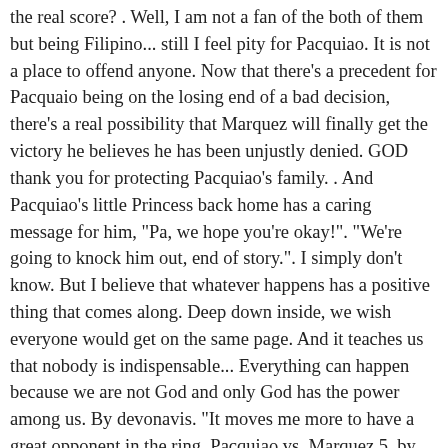the real score? . Well, I am not a fan of the both of them but being Filipino... still I feel pity for Pacquiao. It is not a place to offend anyone. Now that there's a precedent for Pacquaio being on the losing end of a bad decision, there's a real possibility that Marquez will finally get the victory he believes he has been unjustly denied. GOD thank you for protecting Pacquiao's family. . And Pacquiao's little Princess back home has a caring message for him, "Pa, we hope you're okay!". "We're going to knock him out, end of story.". I simply don't know. But I believe that whatever happens has a positive thing that comes along. Deep down inside, we wish everyone would get on the same page. And it teaches us that nobody is indispensable... Everything can happen because we are not God and only God has the power among us. By devonavis. "It moves me more to have a great opponent in the ring. Pacquiao vs. Marquez 5. by The Official Manny Pacquiao Website. DAZN hit the stream with the video of their second bout, going back to March 2008, when the pair met in the rematch at Mandalay Bay